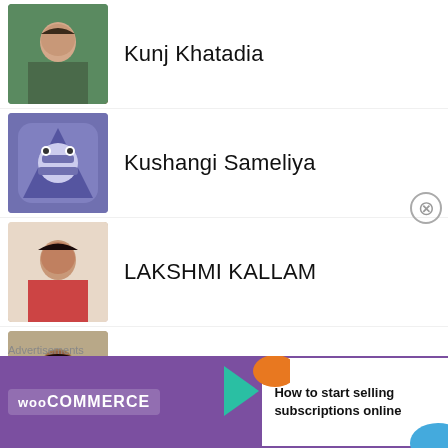Kunj Khatadia
Kushangi Sameliya
LAKSHMI KALLAM
madhav thakur
Priyadeep Mahapatra
Mahima Dhulia
manishkr00
manishtipathi006
[Figure (screenshot): WooCommerce advertisement banner: 'How to start selling subscriptions online']